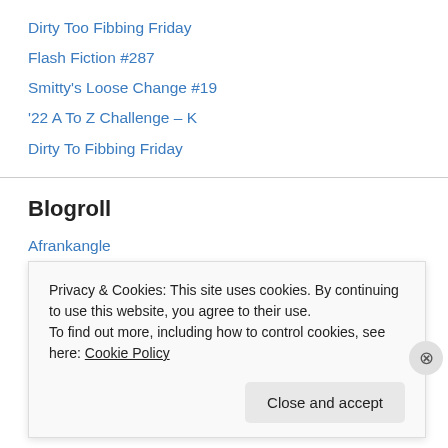Dirty Too Fibbing Friday
Flash Fiction #287
Smitty's Loose Change #19
'22 A To Z Challenge – K
Dirty To Fibbing Friday
Blogroll
Afrankangle
Beach walk Reflections
Benzeknees
Brainrants
Privacy & Cookies: This site uses cookies. By continuing to use this website, you agree to their use.
To find out more, including how to control cookies, see here: Cookie Policy
Close and accept